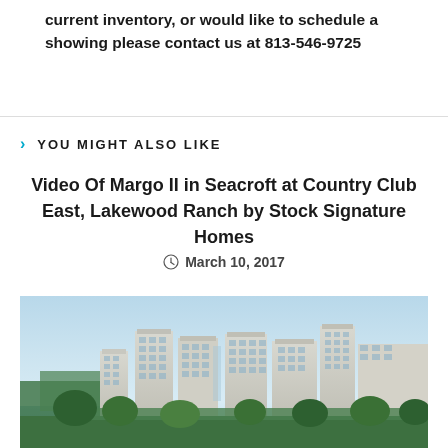current inventory, or would like to schedule a showing please contact us at 813-546-9725
YOU MIGHT ALSO LIKE
Video Of Margo II in Seacroft at Country Club East, Lakewood Ranch by Stock Signature Homes
March 10, 2017
[Figure (photo): Exterior photo of multi-story residential buildings at Seacroft at Country Club East, Lakewood Ranch, with blue sky and water in background]